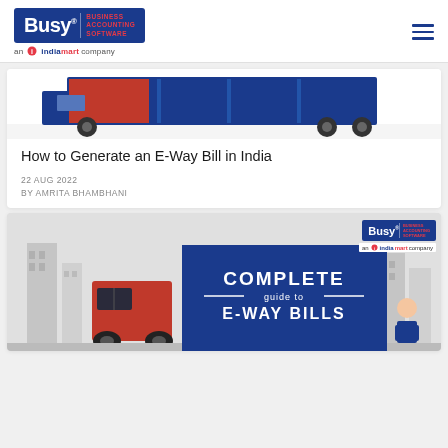[Figure (logo): Busy Business Accounting Software logo - an IndiaMarket company]
[Figure (illustration): Truck illustration for E-Way Bill article]
How to Generate an E-Way Bill in India
22 AUG 2022
BY AMRITA BHAMBHANI
[Figure (infographic): Complete Guide to E-Way Bills infographic with Busy logo, red truck and blue banner showing 'COMPLETE guide to E-WAY BILLS']